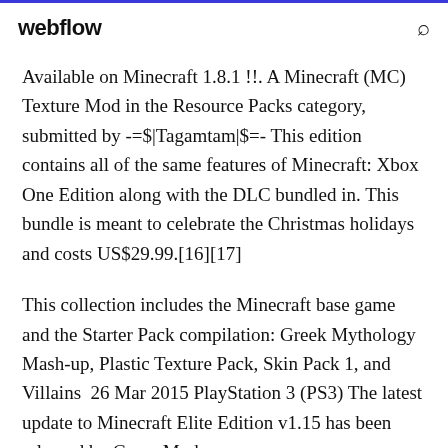webflow
Available on Minecraft 1.8.1 !!. A Minecraft (MC) Texture Mod in the Resource Packs category, submitted by -=$|Tagamtam|$=- This edition contains all of the same features of Minecraft: Xbox One Edition along with the DLC bundled in. This bundle is meant to celebrate the Christmas holidays and costs US$29.99.[16][17]
This collection includes the Minecraft base game and the Starter Pack compilation: Greek Mythology Mash-up, Plastic Texture Pack, Skin Pack 1, and Villains  26 Mar 2015 PlayStation 3 (PS3) The latest update to Minecraft Elite Edition v1.15 has been released by Game Mod